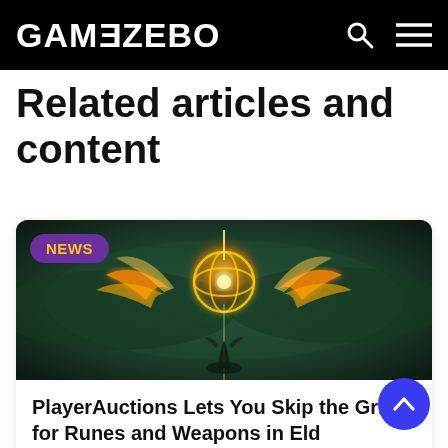GAMEZEBO
Related articles and content
[Figure (screenshot): Article card with a fantasy game image showing a glowing golden orb/sphere with wing-like fire and a figure below, on a dark teal/green background. A purple 'NEWS' badge is in the top-left of the image.]
PlayerAuctions Lets You Skip the Grind for Runes and Weapons in Eld… Ring